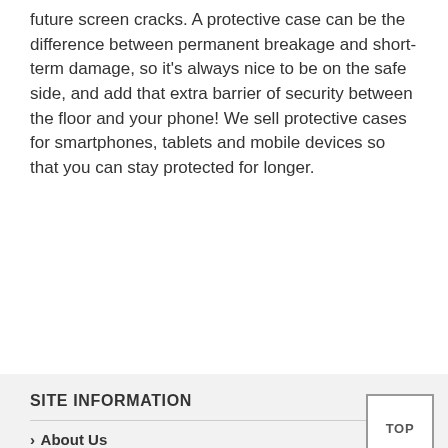future screen cracks. A protective case can be the difference between permanent breakage and short-term damage, so it's always nice to be on the safe side, and add that extra barrier of security between the floor and your phone! We sell protective cases for smartphones, tablets and mobile devices so that you can stay protected for longer.
SITE INFORMATION
› About Us